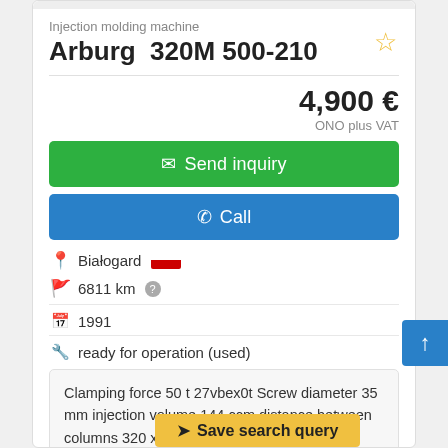Injection molding machine
Arburg  320M 500-210
4,900 €
ONO plus VAT
Send inquiry
Call
Białogard
6811 km
1991
ready for operation (used)
Clamping force 50 t 27vbex0t Screw diameter 35 mm injection volume 144 ccm distance between columns 320 x 320 technical
Save search query